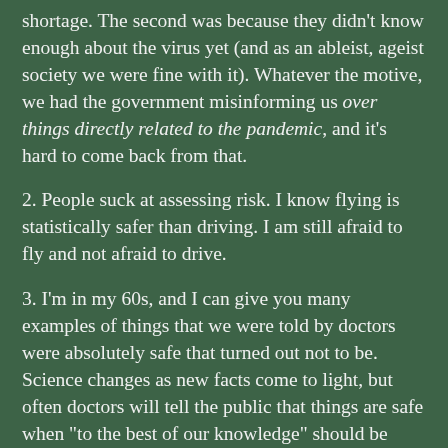shortage. The second was because they didn't know enough about the virus yet (and as an ableist, ageist society we were fine with it). Whatever the motive, we had the government misinforming us over things directly related to the pandemic, and it's hard to come back from that.
2. People suck at assessing risk. I know flying is statistically safer than driving. I am still afraid to fly and not afraid to drive.
3. I'm in my 60s, and I can give you many examples of things that we were told by doctors were absolutely safe that turned out not to be. Science changes as new facts come to light, but often doctors will tell the public that things are safe when "to the best of our knowledge" should be added to that. Doctors are also imperfect. If you are vegan, they will attribute your health problems to being vegan. If you are obese, they will blame your health problems on that. I would be dead if I had trusted the first five doctors who